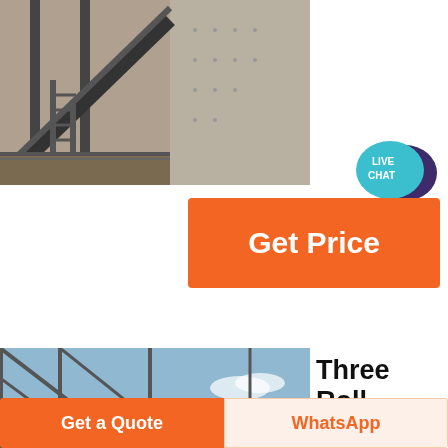[Figure (photo): Industrial conveyor/elevator structure with metal scaffolding against a concrete wall, outdoor setting with gravel]
[Figure (illustration): Live Chat speech bubble icon with teal/turquoise color and a dark purple chat bubble, text reads LIVE CHAT]
Get Price
[Figure (photo): Industrial machinery under an open steel frame structure, equipment branded CCM with red star logo]
Three Roll MillMixers
Products > Three Roll Mills > Three Roll Mill How the Three Roll Mill Works.
Get a Quote
WhatsApp